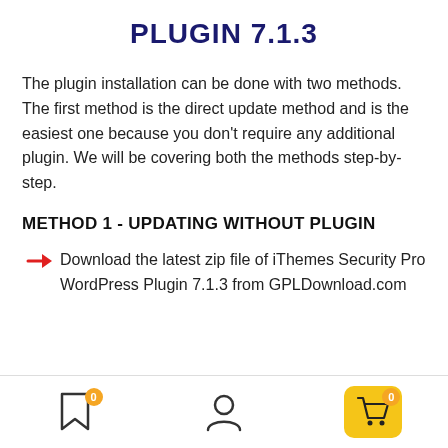PLUGIN 7.1.3
The plugin installation can be done with two methods. The first method is the direct update method and is the easiest one because you don't require any additional plugin. We will be covering both the methods step-by-step.
METHOD 1 - UPDATING WITHOUT PLUGIN
Download the latest zip file of iThemes Security Pro WordPress Plugin 7.1.3 from GPLDownload.com
Navigation bar with bookmark (0), user, and cart (0) icons